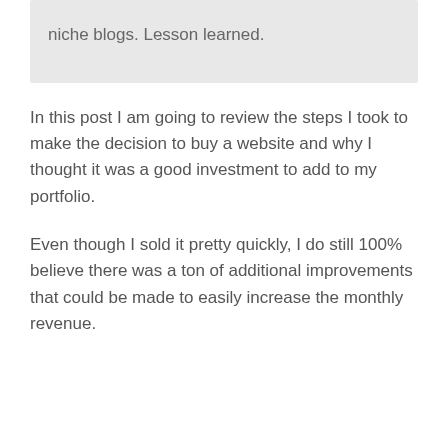niche blogs. Lesson learned.
In this post I am going to review the steps I took to make the decision to buy a website and why I thought it was a good investment to add to my portfolio.
Even though I sold it pretty quickly, I do still 100% believe there was a ton of additional improvements that could be made to easily increase the monthly revenue.